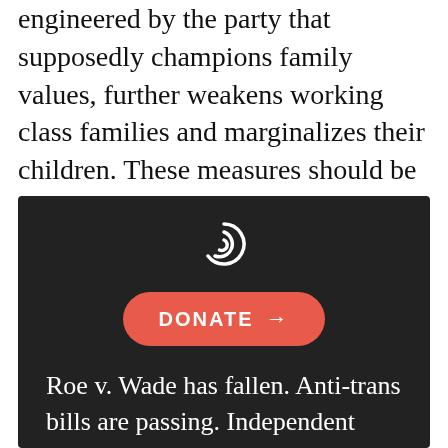engineered by the party that supposedly champions family values, further weakens working class families and marginalizes their children. These measures should be recognized for what they are: an effort to remove the ladder into the middle class for the next generation of Americans.
[Figure (logo): Dark rounded rectangle box containing a logo, a red donate button with arrow, and text reading 'Roe v. Wade has fallen. Anti-trans bills are passing. Independent newspapers are closing. And the Supreme Court doesn't have...']